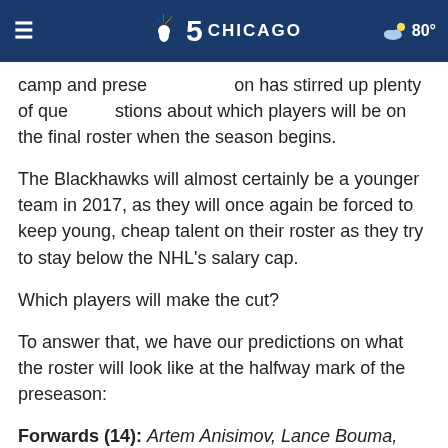NBC 5 Chicago — 80°
camp and preseason has stirred up plenty of questions about which players will be on the final roster when the season begins.
The Blackhawks will almost certainly be a younger team in 2017, as they will once again be forced to keep young, cheap talent on their roster as they try to stay below the NHL's salary cap.
Which players will make the cut?
To answer that, we have our predictions on what the roster will look like at the halfway mark of the preseason:
Forwards (14): Artem Anisimov, Lance Bouma, Laurent Dapuhin, Alex DeBrincat, Ryan Hartman, John Hayden,